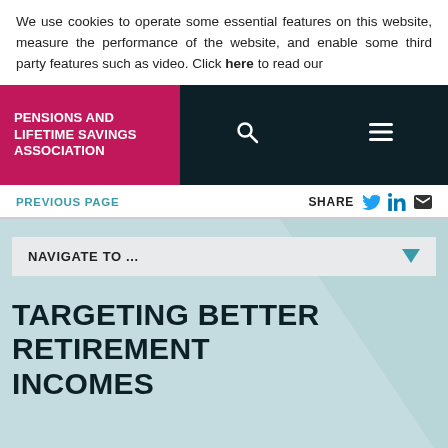We use cookies to operate some essential features on this website, measure the performance of the website, and enable some third party features such as video. Click here to read our
[Figure (logo): Pensions and Lifetime Savings Association logo — white bold text on crimson/magenta background]
PREVIOUS PAGE
SHARE
NAVIGATE TO ...
TARGETING BETTER RETIREMENT INCOMES